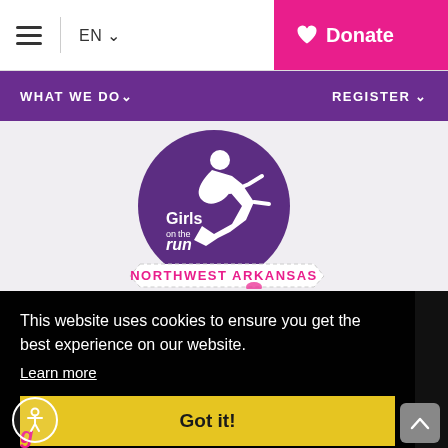≡  EN ∨  |  Donate
WHAT WE DO∨  REGISTER∨
[Figure (logo): Girls on the Run Northwest Arkansas logo — purple circle with running girl silhouette, 'Girls on the run' text, and 'NORTHWEST ARKANSAS' banner beneath]
This website uses cookies to ensure you get the best experience on our website. Learn more
Got it!